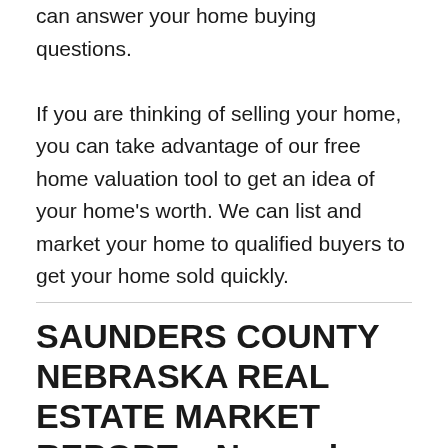can answer your home buying questions.

If you are thinking of selling your home, you can take advantage of our free home valuation tool to get an idea of your home's worth. We can list and market your home to qualified buyers to get your home sold quickly.
SAUNDERS COUNTY NEBRASKA REAL ESTATE MARKET REPORT – November 2021